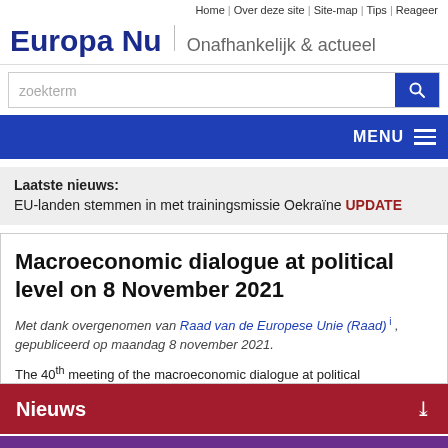Home | Over deze site | Site-map | Tips | Reageer
Europa Nu  Onafhankelijk & actueel
zoekterm
MENU
Laatste nieuws: EU-landen stemmen in met trainingsmissie Oekraïne UPDATE
Macroeconomic dialogue at political level on 8 November 2021
Met dank overgenomen van Raad van de Europese Unie (Raad) i , gepubliceerd op maandag 8 november 2021.
The 40th meeting of the macroeconomic dialogue at political
Nieuws
Columns